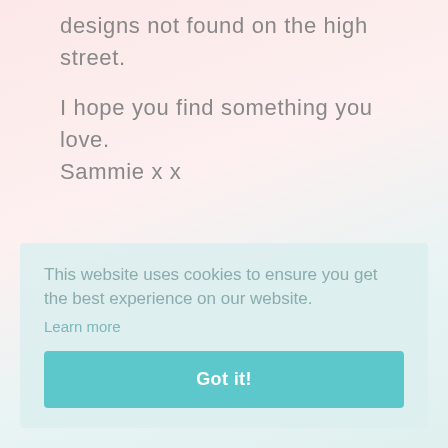designs not found on the high street.
I hope you find something you love.
Sammie x x
This website uses cookies to ensure you get the best experience on our website.
Learn more
Got it!